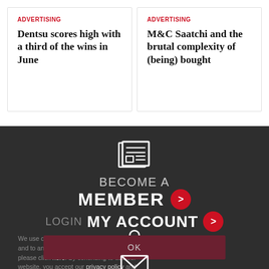ADVERTISING
Dentsu scores high with a third of the wins in June
ADVERTISING
M&C Saatchi and the brutal complexity of (being) bought
[Figure (infographic): Dark footer section with newspaper icon, BECOME A MEMBER call to action with red arrow button, person/account icon, LOGIN MY ACCOUNT with red arrow button, OK button, and mail envelope icon. Cookie consent overlay text visible.]
We use cookies to improve your experience and to analyse our traffic. To find out more, please click here. By continuing to use our website, you accept our privacy policy and cookies policy.
BECOME A
MEMBER
LOGIN MY ACCOUNT
OK